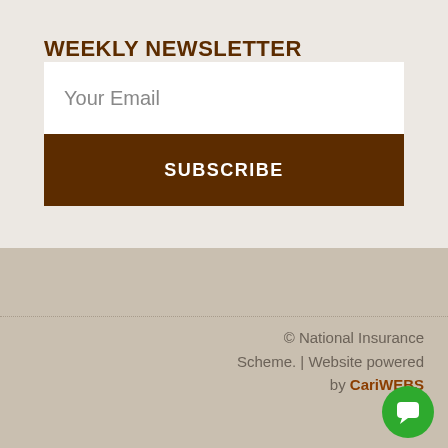WEEKLY NEWSLETTER
Your Email
SUBSCRIBE
© National Insurance Scheme. | Website powered by CariWEBS